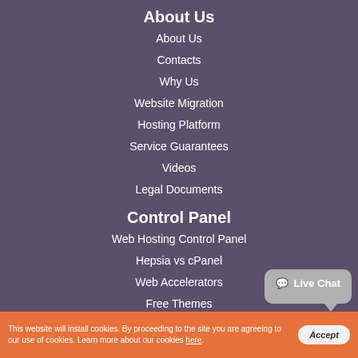About Us
About Us
Contacts
Why Us
Website Migration
Hosting Platform
Service Guarantees
Videos
Legal Documents
Control Panel
Web Hosting Control Panel
Hepsia vs cPanel
Web Accelerators
Free Themes
Domain Manager
[Figure (other): Live Chat button bubble in gray]
This website will install cookies. By proceeding to the site you are agreeing to our use of cookies. Learn more about our cookies here.